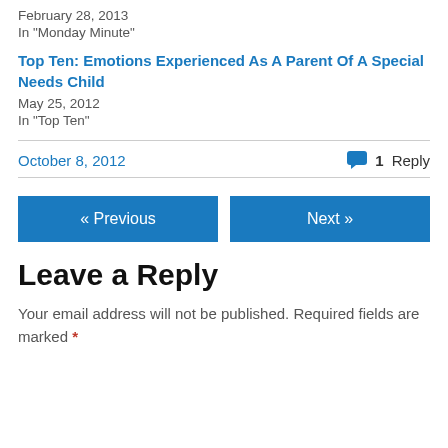February 28, 2013
In "Monday Minute"
Top Ten: Emotions Experienced As A Parent Of A Special Needs Child
May 25, 2012
In "Top Ten"
October 8, 2012
1 Reply
« Previous
Next »
Leave a Reply
Your email address will not be published. Required fields are marked *